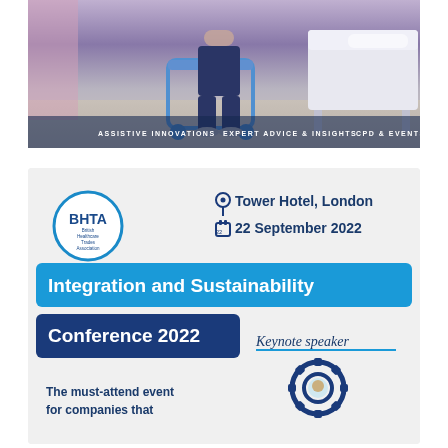[Figure (photo): Photo showing a person with a blue walking aid/walker device next to a hospital bed. Bottom overlay text reads: ASSISTIVE INNOVATIONS   EXPERT ADVICE & INSIGHTS   CPD & EVENTS]
[Figure (infographic): BHTA conference promotional card with BHTA logo circle, location Tower Hotel London, date 22 September 2022, title banners 'Integration and Sustainability' and 'Conference 2022', keynote speaker label, gear icon, and text 'The must-attend event for companies that']